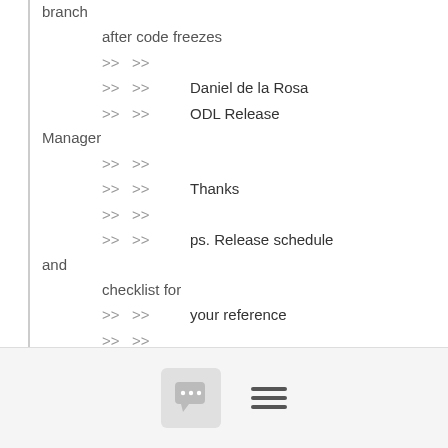branch
    after code freezes
    >> >>
    >> >>                     Daniel de la Rosa
    >> >>                     ODL Release Manager
    >> >>
    >> >>                     Thanks
    >> >>
    >> >>                     ps. Release schedule and
    checklist for
    >> >>                     your reference
    >> >>
    >> >>
    >>
https://wiki.opendaylight.org/display/ODL/Silicon+SR2+Release+Checklist
[Figure (other): Footer bar with a chat bubble icon button and a hamburger menu icon]